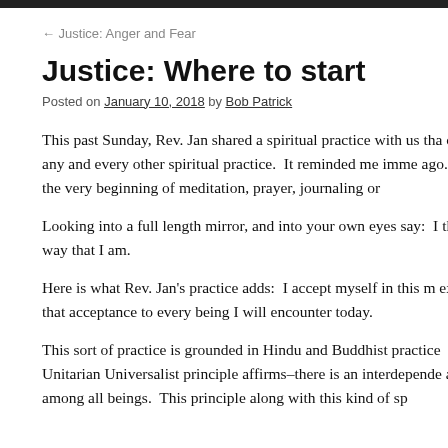← Justice: Anger and Fear
Justice: Where to start
Posted on January 10, 2018 by Bob Patrick
This past Sunday, Rev. Jan shared a spiritual practice with us tha of any and every other spiritual practice.  It reminded me imme ago.  At the very beginning of meditation, prayer, journaling or
Looking into a full length mirror, and into your own eyes say:  I the way that I am.
Here is what Rev. Jan's practice adds:  I accept myself in this m extend that acceptance to every being I will encounter today.
This sort of practice is grounded in Hindu and Buddhist practice Unitarian Universalist principle affirms–there is an interdepende and among all beings.  This principle along with this kind of sp